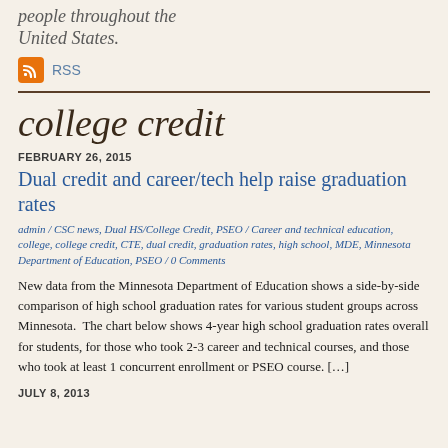people throughout the United States.
RSS
college credit
FEBRUARY 26, 2015
Dual credit and career/tech help raise graduation rates
admin / CSC news, Dual HS/College Credit, PSEO / Career and technical education, college, college credit, CTE, dual credit, graduation rates, high school, MDE, Minnesota Department of Education, PSEO / 0 Comments
New data from the Minnesota Department of Education shows a side-by-side comparison of high school graduation rates for various student groups across Minnesota.  The chart below shows 4-year high school graduation rates overall for students, for those who took 2-3 career and technical courses, and those who took at least 1 concurrent enrollment or PSEO course. […]
JULY 8, 2013